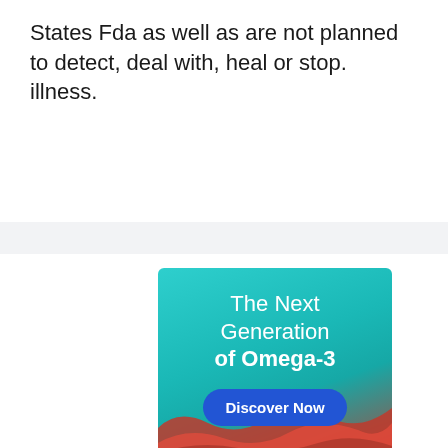States Fda as well as are not planned to detect, deal with, heal or stop. illness.
[Figure (illustration): Advertisement banner with teal/turquoise background and red coral imagery at the bottom. Text reads 'The Next Generation of Omega-3' with a 'Discover Now' button in blue.]